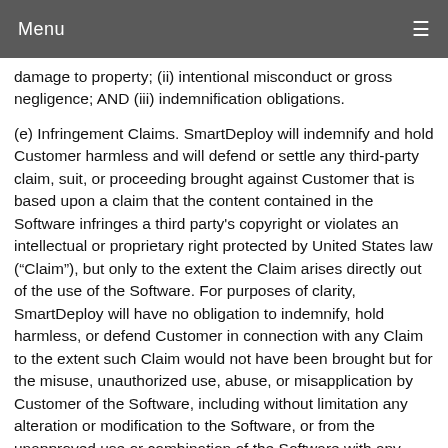Menu
damage to property; (ii) intentional misconduct or gross negligence; AND (iii) indemnification obligations.
(e) Infringement Claims. SmartDeploy will indemnify and hold Customer harmless and will defend or settle any third-party claim, suit, or proceeding brought against Customer that is based upon a claim that the content contained in the Software infringes a third party's copyright or violates an intellectual or proprietary right protected by United States law (“Claim”), but only to the extent the Claim arises directly out of the use of the Software. For purposes of clarity, SmartDeploy will have no obligation to indemnify, hold harmless, or defend Customer in connection with any Claim to the extent such Claim would not have been brought but for the misuse, unauthorized use, abuse, or misapplication by Customer of the Software, including without limitation any alteration or modification to the Software, or from the unapproved use or combination of the Software with any third-party software or hardware. Customer must promptly notify SmartDeploy in writing of any Claim, and Customer shall provide to SmartDeploy (at SmartDeploy’s cost) reasonable